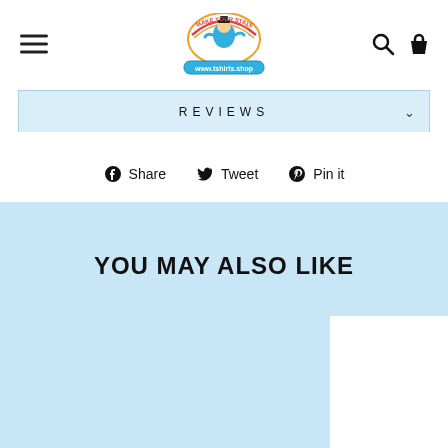[Figure (logo): Make Your Statement custom t-shirt shop cartoon logo with URL badge]
REVIEWS
Share   Tweet   Pin it
YOU MAY ALSO LIKE
[Figure (photo): Product image area partially visible at bottom right (white card)]